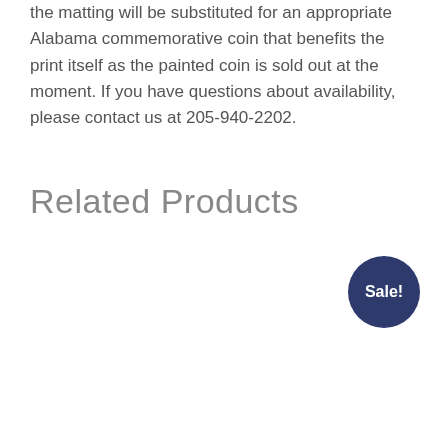the matting will be substituted for an appropriate Alabama commemorative coin that benefits the print itself as the painted coin is sold out at the moment. If you have questions about availability, please contact us at 205-940-2202.
Related Products
[Figure (other): Dark navy blue circular badge with white bold text reading 'Sale!']